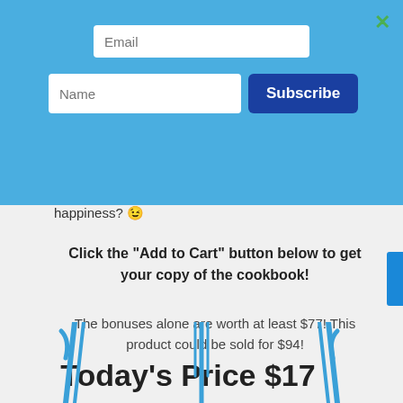[Figure (screenshot): Email subscription overlay on a light blue background with Email input field, Name input field, and Subscribe button]
happiness? 😉
Click the "Add to Cart" button below to get your copy of the cookbook!
The bonuses alone are worth at least $77! This product could be sold for $94!
Today's Price $17
[Figure (illustration): Blue illustrated utensils (spatulas/kitchen tools) at the bottom of the page]